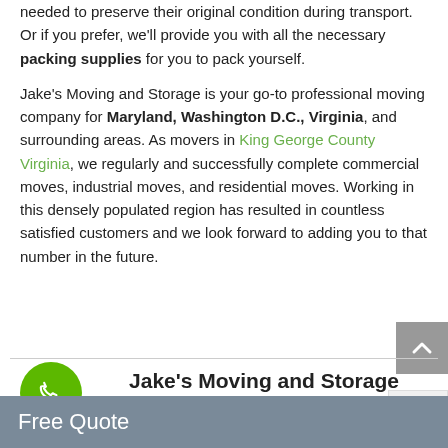needed to preserve their original condition during transport. Or if you prefer, we'll provide you with all the necessary packing supplies for you to pack yourself.
Jake's Moving and Storage is your go-to professional moving company for Maryland, Washington D.C., Virginia, and surrounding areas. As movers in King George County Virginia, we regularly and successfully complete commercial moves, industrial moves, and residential moves. Working in this densely populated region has resulted in countless satisfied customers and we look forward to adding you to that number in the future.
[Figure (other): Green phone call button (circular) and partial heading text: Jake's Moving and Storage VA - Call Us If You Need Movers in King George]
Free Quote